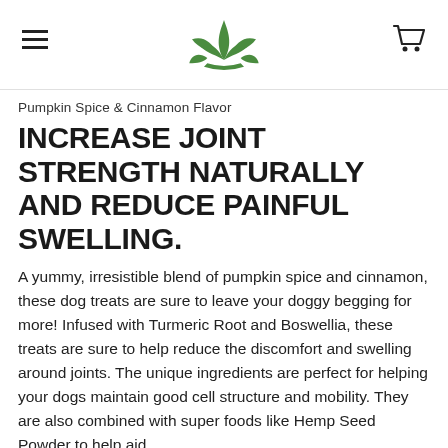[logo] [hamburger menu] [cart icon]
Pumpkin Spice & Cinnamon Flavor
INCREASE JOINT STRENGTH NATURALLY AND REDUCE PAINFUL SWELLING.
A yummy, irresistible blend of pumpkin spice and cinnamon, these dog treats are sure to leave your doggy begging for more! Infused with Turmeric Root and Boswellia, these treats are sure to help reduce the discomfort and swelling around joints. The unique ingredients are perfect for helping your dogs maintain good cell structure and mobility. They are also combined with super foods like Hemp Seed Powder to help aid